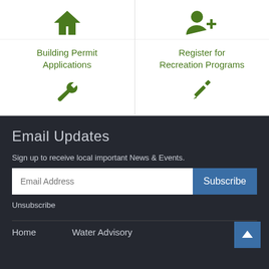Building Permit Applications
Register for Recreation Programs
Email Updates
Sign up to receive local important News & Events.
Unsubscribe
Home   Water Advisory